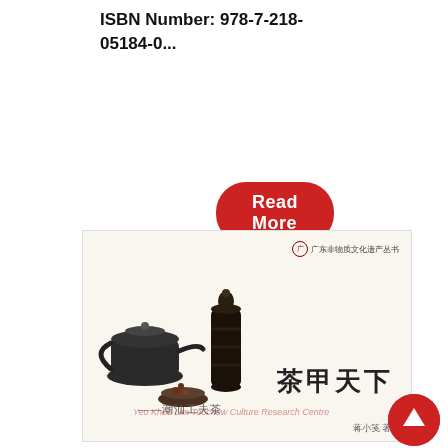ISBN Number: 978-7-218-05184-0...
[Figure (other): Red rounded rectangle button with white bold text 'Read More']
[Figure (photo): Book cover of a Chinese book about Chaoshan Gongfu tea (潮汕工夫茶). The cover shows traditional Chinese teapots and tea accessories against a light background. Title reads 茶甲天下 (Tea is the Best Under Heaven) with subtitle 潮汕工夫茶. Publisher series: 广东非物质文化遗产丛书. Author: 蒋小笺 著. Watermark text: Yeo Khee Lim Teochew Culture Research Centre.]
[Figure (other): Red circular scroll-to-top button with white upward arrow icon]